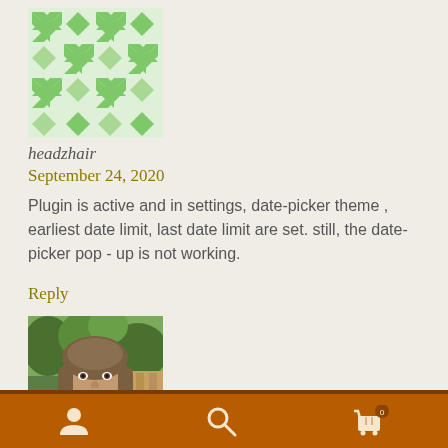[Figure (illustration): Green and white geometric mosaic avatar for user headzhair]
headzhair
September 24, 2020
Plugin is active and in settings, date-picker theme , earliest date limit, last date limit are set. still, the date-picker pop - up is not working.
Reply
[Figure (photo): Portrait photo of Roland Barker, a man with long hair and beard, outdoors with green trees in background]
Roland Barker
Navigation bar with user, search, and cart icons